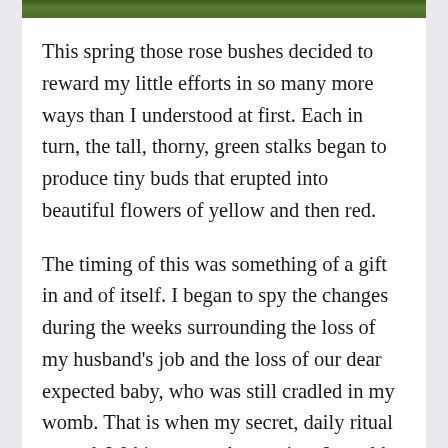[Figure (photo): Top strip of a photograph showing green grass or rose bush foliage, cropped at the top of the page.]
This spring those rose bushes decided to reward my little efforts in so many more ways than I understood at first. Each in turn, the tall, thorny, green stalks began to produce tiny buds that erupted into beautiful flowers of yellow and then red.
The timing of this was something of a gift in and of itself. I began to spy the changes during the weeks surrounding the loss of my husband's job and the loss of our dear expected baby, who was still cradled in my womb. That is when my secret, daily ritual started. Waking up each morning, I would walk through the house opening windows and doors before stepping out onto the front porch which I'd cross in